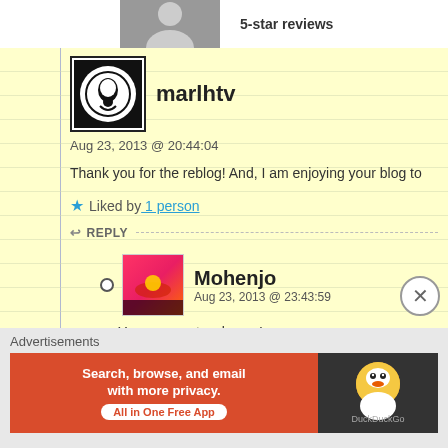5-star reviews
marlhtv
Aug 23, 2013 @ 20:44:04
Thank you for the reblog! And, I am enjoying your blog to
Liked by 1 person
REPLY
Mohenjo
Aug 23, 2013 @ 23:43:59
You are most welcome!
Liked by 1 person
REPLY
Advertisements
Search, browse, and email with more privacy. All in One Free App
[Figure (logo): DuckDuckGo logo and advertisement banner]